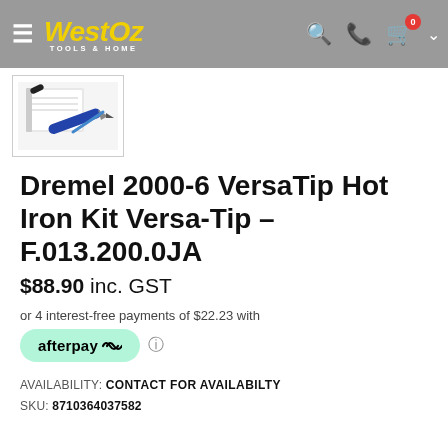WestOz Tools & Home — navigation header
[Figure (photo): Product thumbnail image showing soldering iron kit components on white background]
Dremel 2000-6 VersaTip Hot Iron Kit Versa-Tip – F.013.200.0JA
$88.90 inc. GST
or 4 interest-free payments of $22.23 with
[Figure (logo): Afterpay logo button — teal rounded rectangle with afterpay text and arrows]
AVAILABILITY: CONTACT FOR AVAILABILTY
SKU: 8710364037582